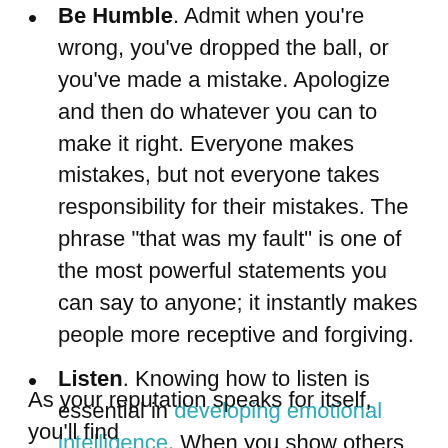Be Humble. Admit when you're wrong, you've dropped the ball, or you've made a mistake. Apologize and then do whatever you can to make it right. Everyone makes mistakes, but not everyone takes responsibility for their mistakes. The phrase "that was my fault" is one of the most powerful statements you can say to anyone; it instantly makes people more receptive and forgiving.
Listen. Knowing how to listen is essential in developing emotional intelligence. When you show others that you're really listening to what they have to say, they'll return the favor.
As your reputation speaks for itself, you'll find